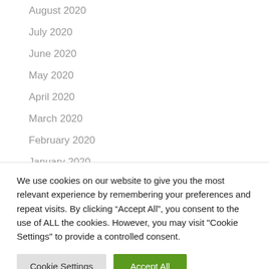August 2020
July 2020
June 2020
May 2020
April 2020
March 2020
February 2020
January 2020
December 2019
We use cookies on our website to give you the most relevant experience by remembering your preferences and repeat visits. By clicking “Accept All”, you consent to the use of ALL the cookies. However, you may visit "Cookie Settings" to provide a controlled consent.